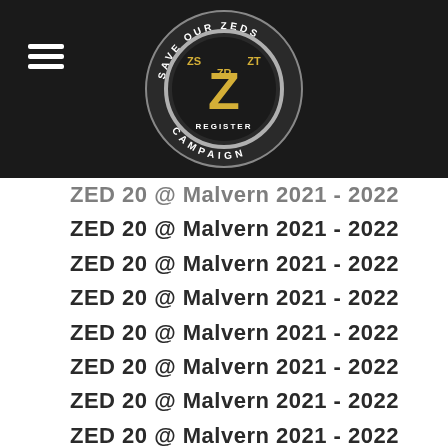Save Our Zeds - ZS ZR ZT Register Campaign
ZED 20 @ Malvern 2021 - 2022
ZED 20 @ Malvern 2021 - 2022
ZED 20 @ Malvern 2021 - 2022
ZED 20 @ Malvern 2021 - 2022
ZED 20 @ Malvern 2021 - 2022
ZED 20 @ Malvern 2021 - 2022
ZED 20 @ Malvern 2021 - 2022
ZED 20 @ Malvern 2021 - 2022
ZED 20 @ Malvern 2021 - 2022
ZED 20 @ Malvern 2021 - 2022
ZED 20 @ Malvern 2021 - 2022
ZED 20 @ Malvern 2021 - 2022
ZED 20 @ Malvern 2021 - 2022
ZED 20 @ Malvern 2021 - 2022
ZED 20 @ Malvern 2021 - 2022
ZED 20 @ Malvern 2021 - 2022
ZED 20 @ Malvern 2021 - 2022